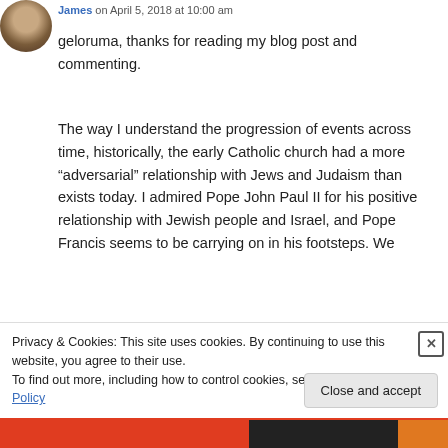James on April 5, 2018 at 10:00 am
geloruma, thanks for reading my blog post and commenting.
The way I understand the progression of events across time, historically, the early Catholic church had a more “adversarial” relationship with Jews and Judaism than exists today. I admired Pope John Paul II for his positive relationship with Jewish people and Israel, and Pope Francis seems to be carrying on in his footsteps. We
Privacy & Cookies: This site uses cookies. By continuing to use this website, you agree to their use.
To find out more, including how to control cookies, see here: Cookie Policy
Close and accept